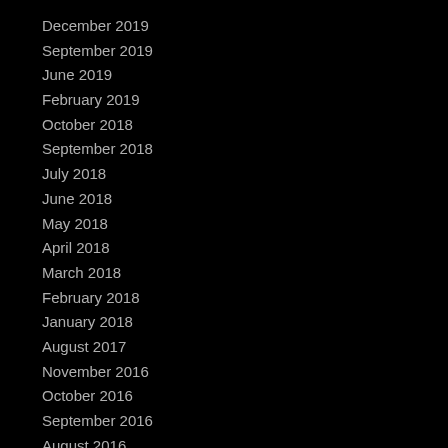December 2019
September 2019
June 2019
February 2019
October 2018
September 2018
July 2018
June 2018
May 2018
April 2018
March 2018
February 2018
January 2018
August 2017
November 2016
October 2016
September 2016
August 2016
June 2016
March 2016
January 2016
November 2015
October 2015